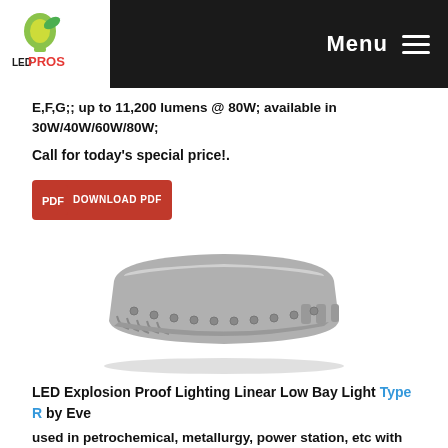LED PROS — Menu
E,F,G;; up to 11,200 lumens @ 80W; available in 30W/40W/60W/80W;
Call for today's special price!.
[Figure (other): Red PDF download button with PDF icon]
[Figure (photo): LED Explosion Proof Lighting Linear Low Bay Light product image — grey rectangular industrial light fixture]
LED Explosion Proof Lighting Linear Low Bay Light Type R by Eve
used in petrochemical, metallurgy, power station, etc with explosive gas or combustible dust dangerous environments; oil and Gas refineries; 2ft, 3ft, 4ft nominal lengths; Class I, Division II, Group A,B,C,D; up to 10,800 lumens; Ratings IP 66, IK 10; available in